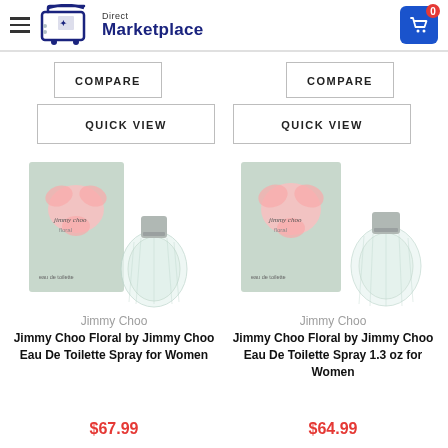Direct Marketplace
COMPARE
COMPARE
QUICK VIEW
QUICK VIEW
[Figure (photo): Jimmy Choo Floral perfume bottle with box]
Jimmy Choo
Jimmy Choo Floral by Jimmy Choo Eau De Toilette Spray for Women
$67.99
[Figure (photo): Jimmy Choo Floral perfume bottle with box]
Jimmy Choo
Jimmy Choo Floral by Jimmy Choo Eau De Toilette Spray 1.3 oz for Women
$64.99